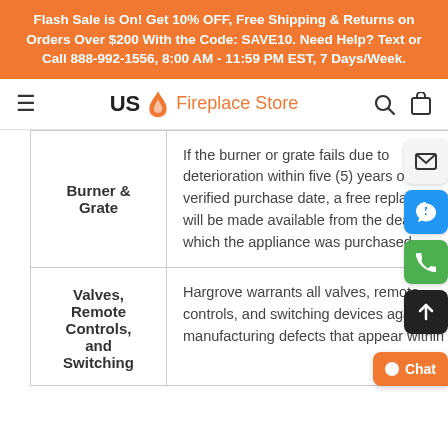Flash Sale is On! Get 10% OFF, Free Shipping & Returns on Orders Over $200 With the Code: SAVE10. Need Help? Text or Call 888-992-1556, 8:00 AM - 11:59 PM EST, 7 Days/Week.
US Fireplace Store
| Component | Warranty |
| --- | --- |
| Burner & Grate | If the burner or grate fails due to deterioration within five (5) years of the verified purchase date, a free replacement will be made available from the dealer at which the appliance was purchased |
| Valves, Remote Controls, and Switching | Hargrove warrants all valves, remote controls, and switching devices against manufacturing defects that appear within |